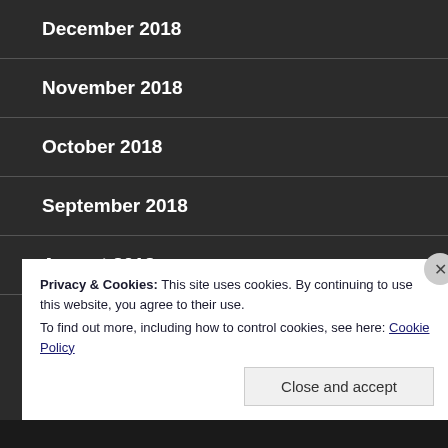December 2018
November 2018
October 2018
September 2018
August 2018
July 2018
Privacy & Cookies: This site uses cookies. By continuing to use this website, you agree to their use.
To find out more, including how to control cookies, see here: Cookie Policy
Close and accept